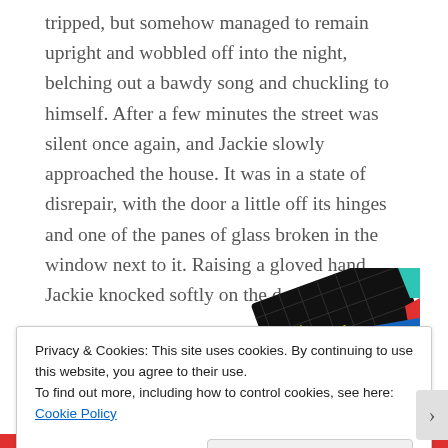tripped, but somehow managed to remain upright and wobbled off into the night, belching out a bawdy song and chuckling to himself. After a few minutes the street was silent once again, and Jackie slowly approached the house. It was in a state of disrepair, with the door a little off its hinges and one of the panes of glass broken in the window next to it. Raising a gloved hand, Jackie knocked softly on the door.
[Figure (other): Partial view of a '99% Invisible' branded card or book cover with black background, yellow text, and colorful geometric shapes (teal, red, blue).]
Privacy & Cookies: This site uses cookies. By continuing to use this website, you agree to their use.
To find out more, including how to control cookies, see here: Cookie Policy
Close and accept